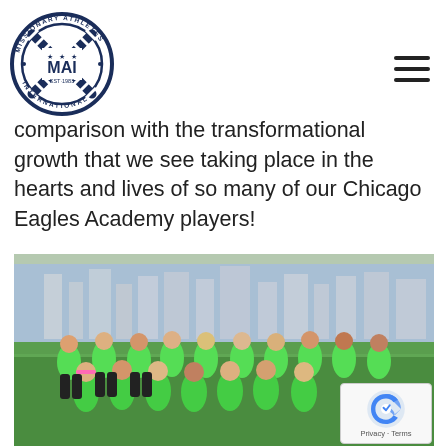Missionary Athletes International (MAI) - EST. 1983 logo with hamburger menu
comparison with the transformational growth that we see taking place in the hearts and lives of so many of our Chicago Eagles Academy players!
[Figure (photo): Group photo of approximately 14 young women in bright green jerseys and black shorts posing on a soccer field with a city skyline in the background. They appear to be members of the Chicago Eagles Academy soccer team.]